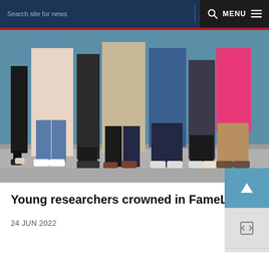Search site for news   MENU
[Figure (photo): Group of young researchers standing together in front of a blue wall, photographed from the waist down showing their legs and feet. Various clothing styles and footwear visible.]
Young researchers crowned in FameLab science communication competition
24 JUN 2022